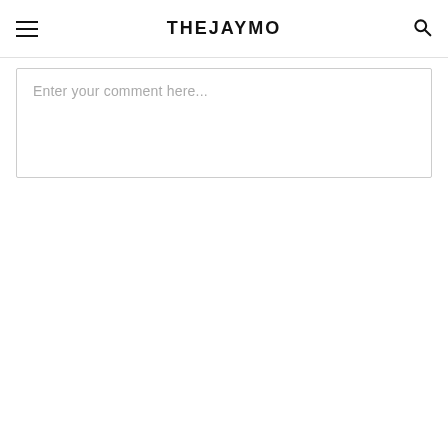THEJAYMO
Enter your comment here...